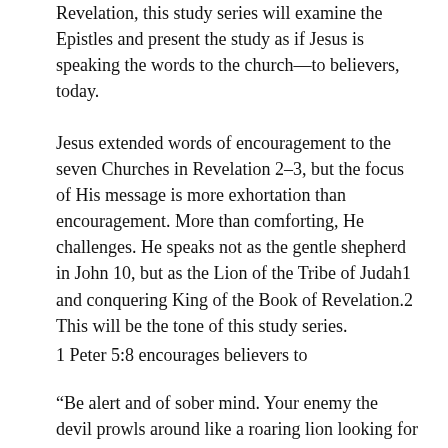Revelation, this study series will examine the Epistles and present the study as if Jesus is speaking the words to the church—to believers, today.
Jesus extended words of encouragement to the seven Churches in Revelation 2–3, but the focus of His message is more exhortation than encouragement. More than comforting, He challenges. He speaks not as the gentle shepherd in John 10, but as the Lion of the Tribe of Judah1 and conquering King of the Book of Revelation.2 This will be the tone of this study series.
1 Peter 5:8 encourages believers to
“Be alert and of sober mind. Your enemy the devil prowls around like a roaring lion looking for someone to devour.”